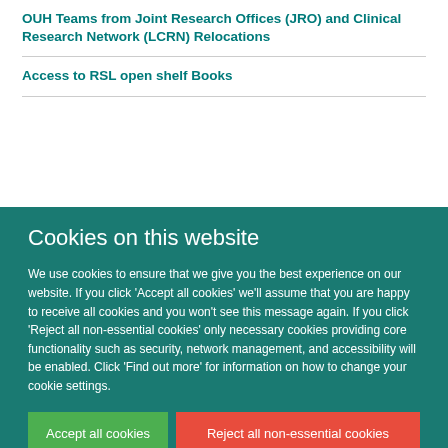OUH Teams from Joint Research Offices (JRO) and Clinical Research Network (LCRN) Relocations
Access to RSL open shelf Books
Cookies on this website
We use cookies to ensure that we give you the best experience on our website. If you click 'Accept all cookies' we'll assume that you are happy to receive all cookies and you won't see this message again. If you click 'Reject all non-essential cookies' only necessary cookies providing core functionality such as security, network management, and accessibility will be enabled. Click 'Find out more' for information on how to change your cookie settings.
Accept all cookies | Reject all non-essential cookies | Find out more